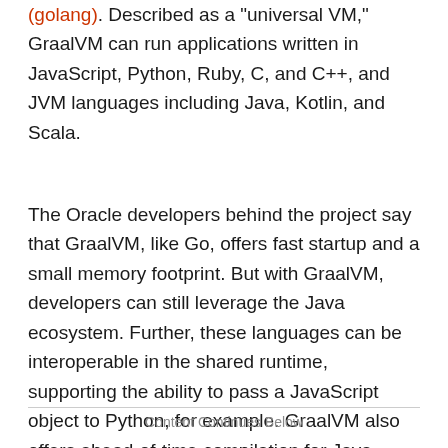(golang). Described as a "universal VM," GraalVM can run applications written in JavaScript, Python, Ruby, C, and C++, and JVM languages including Java, Kotlin, and Scala.
The Oracle developers behind the project say that GraalVM, like Go, offers fast startup and a small memory footprint. But with GraalVM, developers can still leverage the Java ecosystem. Further, these languages can be interoperable in the shared runtime, supporting the ability to pass a JavaScript object to Python, for example. GraalVM also offers ahead-of-time compilation for Java code.
Content Continues Below